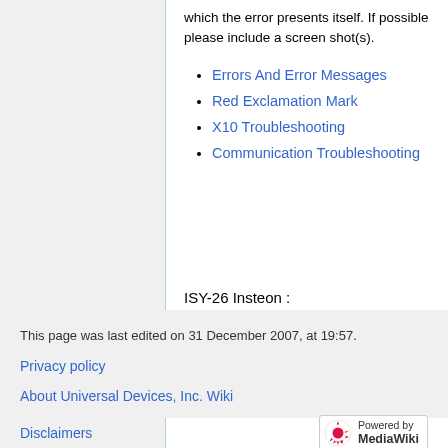which the error presents itself. If possible please include a screen shot(s).
Errors And Error Messages
Red Exclamation Mark
X10 Troubleshooting
Communication Troubleshooting
ISY-26 Insteon  :
This page was last edited on 31 December 2007, at 19:57.
Privacy policy
About Universal Devices, Inc. Wiki
Disclaimers
[Figure (logo): Powered by MediaWiki badge with red sunflower-like icon]